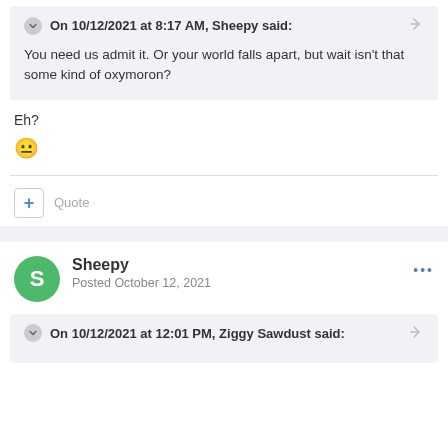On 10/12/2021 at 8:17 AM, Sheepy said:
You need us admit it. Or your world falls apart, but wait isn't that some kind of oxymoron?
Eh?
😐
+ Quote
Sheepy
Posted October 12, 2021
On 10/12/2021 at 12:01 PM, Ziggy Sawdust said: